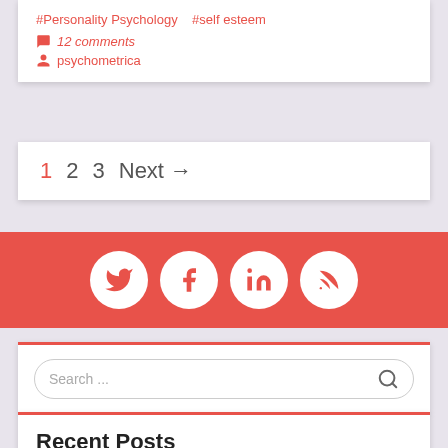#Personality Psychology   #self esteem
💬 12 comments
👤 psychometrica
1   2   3   Next →
[Figure (infographic): Social media icon bar with Twitter, Facebook, LinkedIn, and RSS feed icons in white circles on a coral/red background]
Search ...
Recent Posts
Hiring Using Online Psychometric Tests